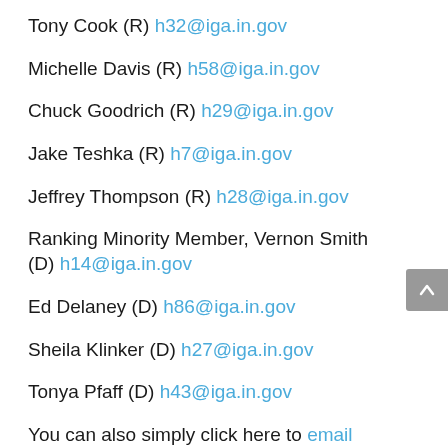Tony Cook (R) h32@iga.in.gov
Michelle Davis (R) h58@iga.in.gov
Chuck Goodrich (R) h29@iga.in.gov
Jake Teshka (R) h7@iga.in.gov
Jeffrey Thompson (R) h28@iga.in.gov
Ranking Minority Member, Vernon Smith (D) h14@iga.in.gov
Ed Delaney (D) h86@iga.in.gov
Sheila Klinker (D) h27@iga.in.gov
Tonya Pfaff (D) h43@iga.in.gov
You can also simply click here to email